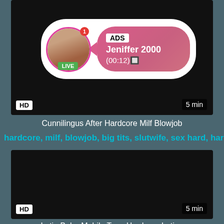[Figure (screenshot): Video thumbnail with black background, HD badge bottom-left, 5 min duration bottom-right, and an ad overlay showing a live profile with name Jeniffer 2000]
Cunnilingus After Hardcore Milf Blowjob
hardcore, milf, blowjob, big tits, slutwife, sex hard, hard f...
[Figure (screenshot): Second video thumbnail with black background, HD badge bottom-left, 5 min duration bottom-right]
Latin Babe Mobile Teen Hardcore Latina